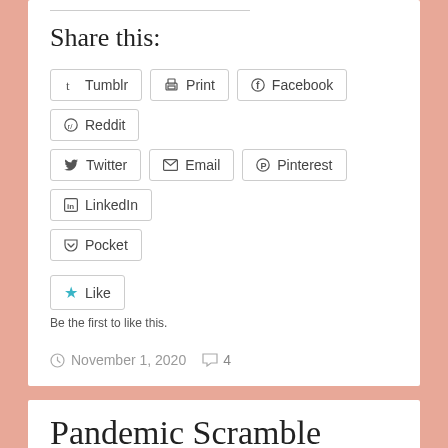Share this:
Tumblr
Print
Facebook
Reddit
Twitter
Email
Pinterest
LinkedIn
Pocket
Like
Be the first to like this.
November 1, 2020   4
Pandemic Scramble